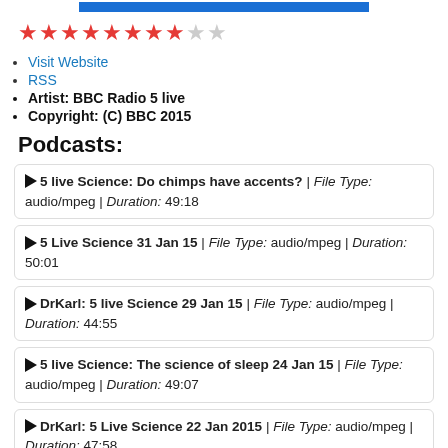[Figure (other): Blue progress/rating bar at top]
[Figure (other): Star rating: 8 filled red stars, 2 empty grey stars]
Visit Website
RSS
Artist: BBC Radio 5 live
Copyright: (C) BBC 2015
Podcasts:
▶5 live Science: Do chimps have accents? | File Type: audio/mpeg | Duration: 49:18
▶5 Live Science 31 Jan 15 | File Type: audio/mpeg | Duration: 50:01
▶DrKarl: 5 live Science 29 Jan 15 | File Type: audio/mpeg | Duration: 44:55
▶5 live Science: The science of sleep 24 Jan 15 | File Type: audio/mpeg | Duration: 49:07
▶DrKarl: 5 Live Science 22 Jan 2015 | File Type: audio/mpeg | Duration: 47:58